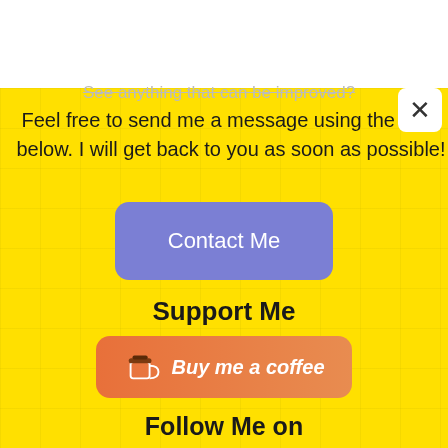See anything that can be improved?
Feel free to send me a message using the form below. I will get back to you as soon as possible!
[Figure (other): Purple rounded button labeled 'Contact Me']
Support Me
[Figure (other): Orange 'Buy me a coffee' button with coffee cup icon]
Follow Me on
[Figure (other): Social media icon buttons: Facebook, Pinterest, GitHub, Medium]